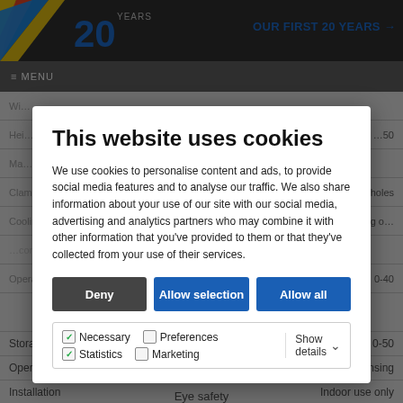[Figure (screenshot): Website header with 20 years logo and navigation bar with MENU text]
This website uses cookies
We use cookies to personalise content and ads, to provide social media features and to analyse our traffic. We also share information about your use of our site with our social media, advertising and analytics partners who may combine it with other information that you've provided to them or that they've collected from your use of their services.
Deny | Allow selection | Allow all
Necessary | Preferences | Statistics | Marketing | Show details
|  | Unit | Value |
| --- | --- | --- |
| Storage temperature | (°C) | 0-50 |
| Operating relative humidity | (%) | 20-85, non condensing |
| Installation |  | Indoor use only |
Eye safety